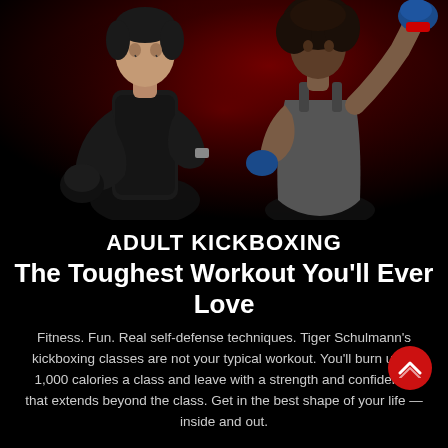[Figure (photo): Two kickboxers against a dark red-to-black gradient background. On the left, a male fighter in a black t-shirt holding a black boxing glove. On the right, a female fighter in a gray tank top with a raised blue gloved fist.]
ADULT KICKBOXING The Toughest Workout You'll Ever Love
Fitness. Fun. Real self-defense techniques. Tiger Schulmann's kickboxing classes are not your typical workout. You'll burn up to 1,000 calories a class and leave with a strength and confidence that extends beyond the class. Get in the best shape of your life — inside and out.